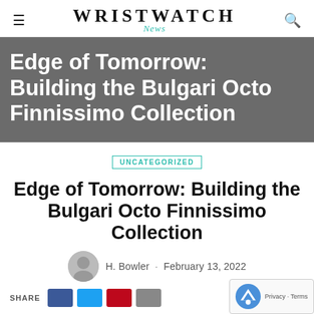WRISTWATCH News
Edge of Tomorrow: Building the Bulgari Octo Finnissimo Collection
UNCATEGORIZED
Edge of Tomorrow: Building the Bulgari Octo Finnissimo Collection
H. Bowler · February 13, 2022
SHARE